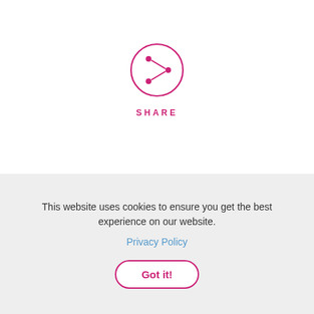[Figure (illustration): A pink circle outline containing a share/network icon (three dots connected by lines) in pink, centered on the page upper half]
SHARE
Leave a comment
This website uses cookies to ensure you get the best experience on our website.
Privacy Policy
Got it!